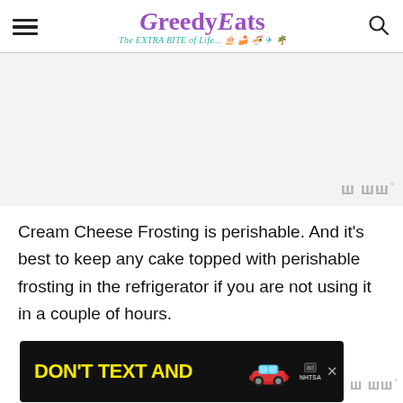GreeedyEats — The EXTRA BITE of Life...
[Figure (photo): Light gray placeholder image area for a recipe photo, with a Whisk/WW watermark badge in the bottom right corner]
Cream Cheese Frosting is perishable. And it's best to keep any cake topped with perishable frosting in the refrigerator if you are not using it in a couple of hours.
[Figure (other): Advertisement banner: DON'T TEXT AND [car image] ad badge, NHTSA logo on black background with close button]